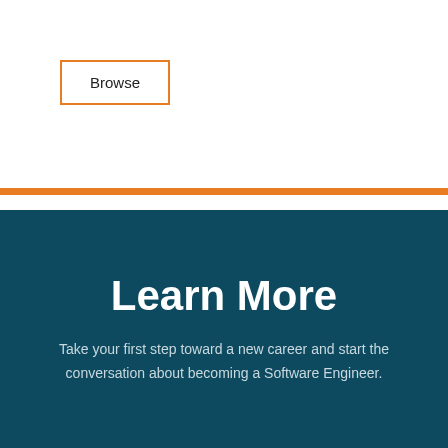Browse
Learn More
Take your first step toward a new career and start the conversation about becoming a Software Engineer.